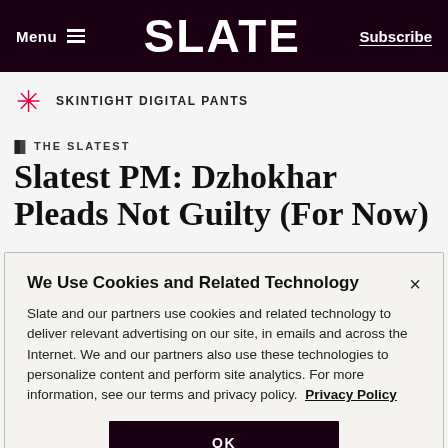Menu  SLATE  Subscribe
SKINTIGHT DIGITAL PANTS
THE SLATEST
Slatest PM: Dzhokhar Pleads Not Guilty (For Now)
We Use Cookies and Related Technology
Slate and our partners use cookies and related technology to deliver relevant advertising on our site, in emails and across the Internet. We and our partners also use these technologies to personalize content and perform site analytics. For more information, see our terms and privacy policy. Privacy Policy
OK